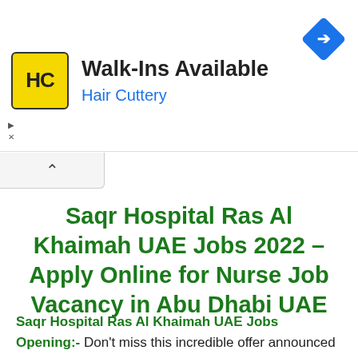[Figure (logo): Hair Cuttery advertisement banner with HC logo on yellow background, Walk-Ins Available text, Hair Cuttery subtitle in blue, and blue diamond navigation icon]
Saqr Hospital Ras Al Khaimah UAE Jobs 2022 – Apply Online for Nurse Job Vacancy in Abu Dhabi UAE
Saqr Hospital Ras Al Khaimah UAE Jobs Opening:- Don't miss this incredible offer announced for Saqr Hospital Ras Al Khaimah UAE Jobs Careers. Saqr Hospital Ras Al Khaimah UAE Jobs latest job applications are being announced for